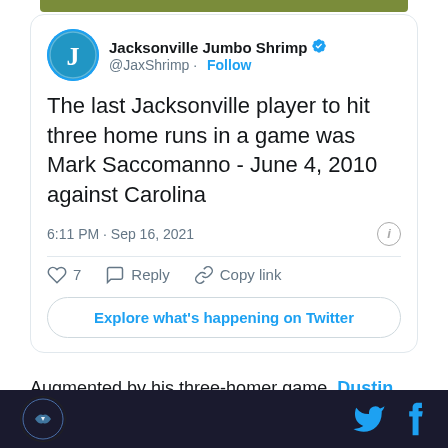[Figure (screenshot): Tweet card from Jacksonville Jumbo Shrimp (@JaxShrimp) with verified badge and Follow button. Tweet text: 'The last Jacksonville player to hit three home runs in a game was Mark Saccomanno - June 4, 2010 against Carolina'. Timestamp: 6:11 PM · Sep 16, 2021. Actions: 7 likes, Reply, Copy link. Button: Explore what's happening on Twitter.]
Augmented by his three-homer game, Dustin Fowler owns a .289/.316/.526 slash line and 120 wRC+ in 20
[Figure (logo): Footer bar with Jacksonville Jumbo Shrimp logo on left and Twitter/Facebook icons on right]